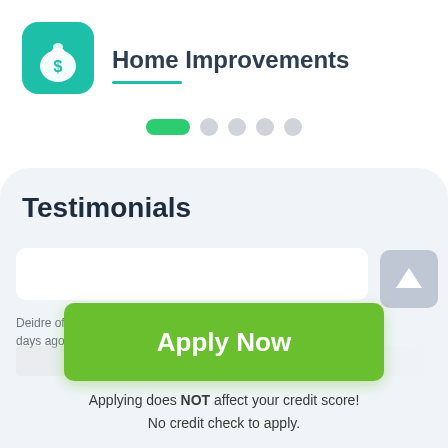[Figure (logo): Teal rounded square icon with a white money bag and dollar sign]
Home Improvements
[Figure (infographic): Pagination dots: one active green pill and four grey circles]
Testimonials
[Figure (infographic): Grey scroll-to-top arrow button on right side]
Deidre of Palm Desert, CA · James of Toney, AL · days ago
Applying does NOT affect your credit score!
No credit check to apply.